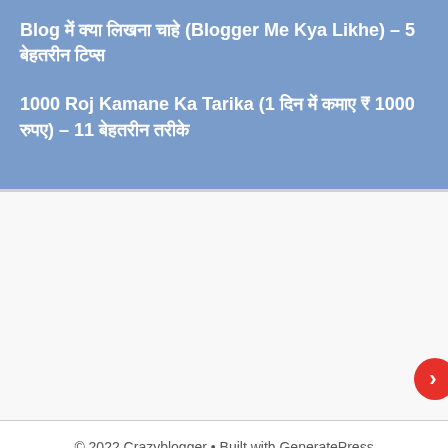Blog में क्या लिखना चाहे (Blogger Me Kya Likhe) – 5 बेहतरीन टिप्स
1000 Roj Kamane Ka Tarika (1 दिन में कमाए ₹ 1000 रुपए) – 11 बेहतरीन तरीके
© 2022 Crazyblogger • Built with GeneratePress